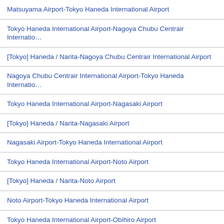Matsuyama Airport-Tokyo Haneda International Airport
Tokyo Haneda International Airport-Nagoya Chubu Centrair Internatio…
[Tokyo] Haneda / Narita-Nagoya Chubu Centrair International Airport
Nagoya Chubu Centrair International Airport-Tokyo Haneda Internatio…
Tokyo Haneda International Airport-Nagasaki Airport
[Tokyo] Haneda / Narita-Nagasaki Airport
Nagasaki Airport-Tokyo Haneda International Airport
Tokyo Haneda International Airport-Noto Airport
[Tokyo] Haneda / Narita-Noto Airport
Noto Airport-Tokyo Haneda International Airport
Tokyo Haneda International Airport-Obihiro Airport
[Tokyo] Haneda / Narita-Obihiro Airport
Obihiro Airport-Tokyo Haneda International Airport
Tokyo Haneda International Airport-Oita Airport